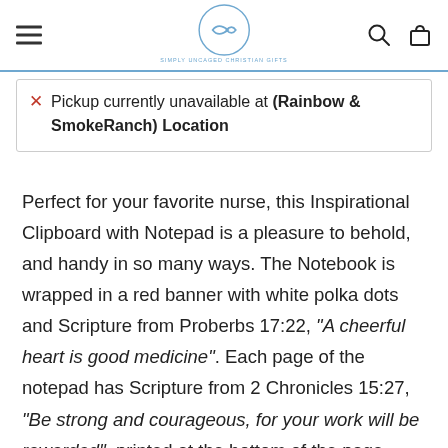Simply Uncaged Christian Gifts — navigation header with hamburger menu, fish logo, search and cart icons
Pickup currently unavailable at (Rainbow & SmokeRanch) Location
Perfect for your favorite nurse, this Inspirational Clipboard with Notepad is a pleasure to behold, and handy in so many ways. The Notebook is wrapped in a red banner with white polka dots and Scripture from Proberbs 17:22, "A cheerful heart is good medicine". Each page of the notepad has Scripture from 2 Chronicles 15:27, "Be strong and courageous, for your work will be rewarded", printed at the bottom of the page, followed by a three heart design. The back of the